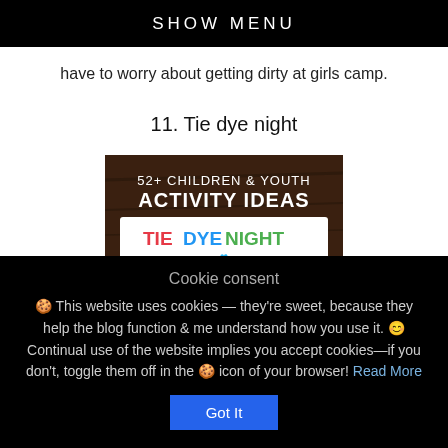SHOW MENU
have to worry about getting dirty at girls camp.
11. Tie dye night
[Figure (illustration): Book cover titled '52+ Children & Youth Activity Ideas' with 'Tie Dye Night' text and a colorful tie-dye t-shirt illustration on a dark wood background.]
Cookie consent
🍪 This website uses cookies — they're sweet, because they help the blog function & me understand how you use it. 😊 Continual use of the website implies you accept cookies—if you don't, toggle them off in the 🍪 icon of your browser! Read More
Got It